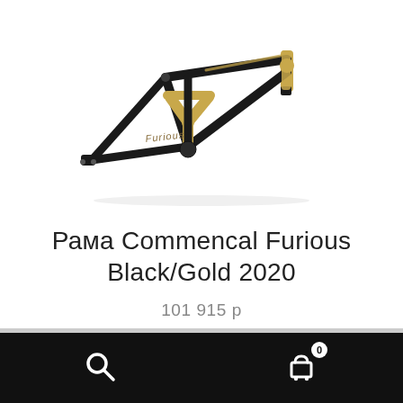[Figure (photo): Commencal Furious mountain bike frame in black and gold colorway, shown at an angle on white background. The frame features a distinctive Y-shaped linkage area in gold/bronze color, with 'Furious' branding on the downtube.]
Рама Commencal Furious Black/Gold 2020
101 915 р
Search icon and cart icon with badge showing 0